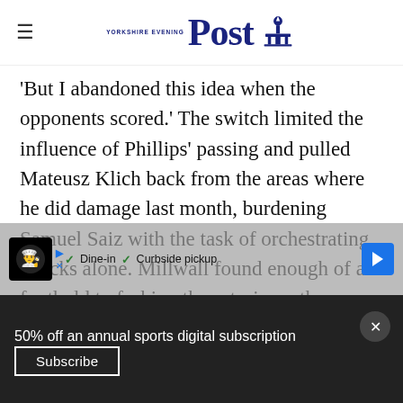Yorkshire Evening Post
'But I abandoned this idea when the opponents scored.' The switch limited the influence of Phillips' passing and pulled Mateusz Klich back from the areas where he did damage last month, burdening Samuel Saiz with the task of orchestrating attacks alone. Millwall found enough of a foothold to fashion the set-pieces they wanted, something Bielsa prepared for but Leeds made hard working of coping with. 'For us it's... [ad overlay] ...then we know in advance that we will face them.'
[Figure (other): Advertisement banner overlay with restaurant logo, Dine-in and Curbside pickup options]
50% off an annual sports digital subscription
Subscribe